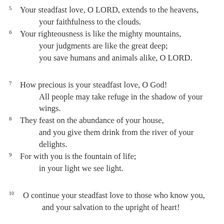5 Your steadfast love, O LORD, extends to the heavens, your faithfulness to the clouds.
6 Your righteousness is like the mighty mountains, your judgments are like the great deep; you save humans and animals alike, O LORD.
7 How precious is your steadfast love, O God! All people may take refuge in the shadow of your wings.
8 They feast on the abundance of your house, and you give them drink from the river of your delights.
9 For with you is the fountain of life; in your light we see light.
10 O continue your steadfast love to those who know you, and your salvation to the upright of heart!